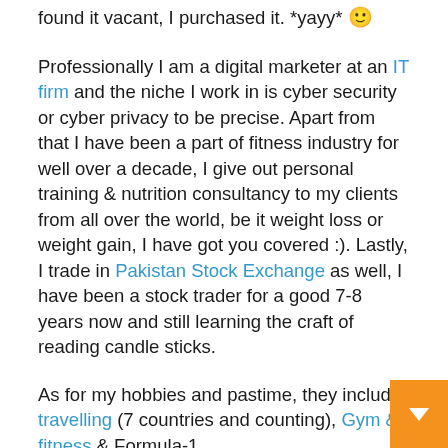found it vacant, I purchased it. *yayy* 🙂 Professionally I am a digital marketer at an IT firm and the niche I work in is cyber security or cyber privacy to be precise. Apart from that I have been a part of fitness industry for well over a decade, I give out personal training & nutrition consultancy to my clients from all over the world, be it weight loss or weight gain, I have got you covered :). Lastly, I trade in Pakistan Stock Exchange as well, I have been a stock trader for a good 7-8 years now and still learning the craft of reading candle sticks. As for my hobbies and pastime, they include travelling (7 countries and counting), Gym & fitness & Formula-1. Apart from all that, I live an extremely simple life. If you want to get in touch with me you can drop me an email on ovaiskhan666@gmail.com & I will most